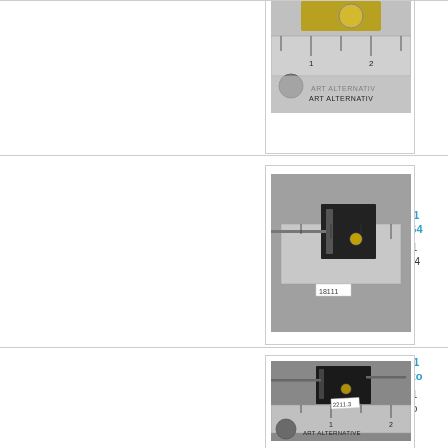[Figure (photo): Mechanical part (gear/clock mechanism) shown with a ruler measuring approximately 1-2 inches. Ruler shows 'ART ALTERNATIVE' branding.]
[Figure (photo): Small mechanical switch/actuator component (item 2211, 61/64) shown next to a ruler scale.]
2211 61/64
2211 61/64
[Figure (photo): Small mechanical switch/actuator component (item 2211, bottom) shown with ART ALTERNATIVE ruler measuring 1-2 inches.]
2211 botto
2211 botto